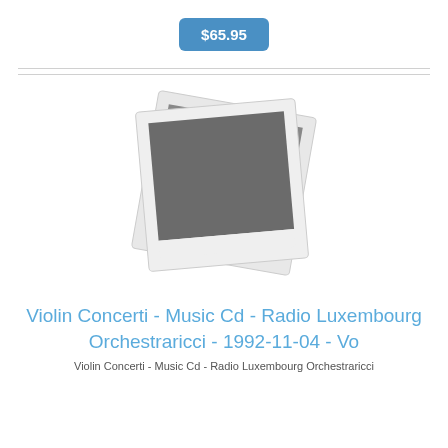$65.95
[Figure (photo): Placeholder product image showing two overlapping polaroid-style photo frames with a dark grey center, suggesting a CD or music album with no cover art available.]
Violin Concerti - Music Cd - Radio Luxembourg Orchestraricci - 1992-11-04 - Vo
Violin Concerti - Music Cd - Radio Luxembourg Orchestraricci